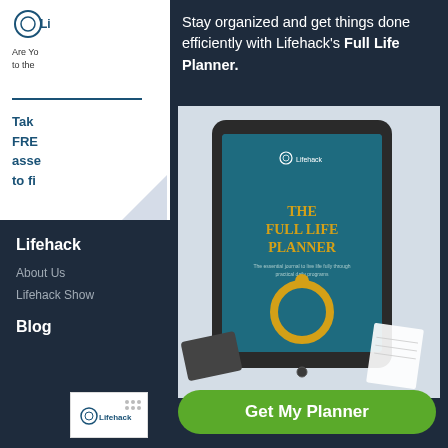[Figure (logo): Lifehack logo icon top left white column]
Are You
to the
Tak
FRE
ass
to f
Stay organized and get things done efficiently with Lifehack's Full Life Planner.
[Figure (photo): Tablet showing The Full Life Planner book cover with Lifehack branding, gold circular logo, and teal background. Surrounded by keyboard and notebook on marble surface.]
Lifehack
About Us
Lifehack Show
Blog
[Figure (logo): Lifehack logo in white box bottom left]
Get My Planner